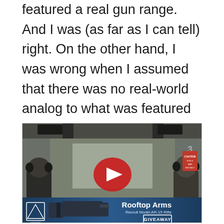featured a real gun range. And I was (as far as I can tell) right. On the other hand, I was wrong when I assumed that there was no real-world analog to what was featured in the show. To wit, ladies and germs, allow me to introduce to you, the fine folks at the Las Vegas Gun Range & Firearms Center.
[Figure (screenshot): YouTube video thumbnail showing a gun range with two shooters wearing ear protection, viewed from behind. A YouTube play button overlay is visible. The bottom portion shows a Rooftop Arms advertisement banner with an AR-15 rifle and a GIVEAWAY box.]